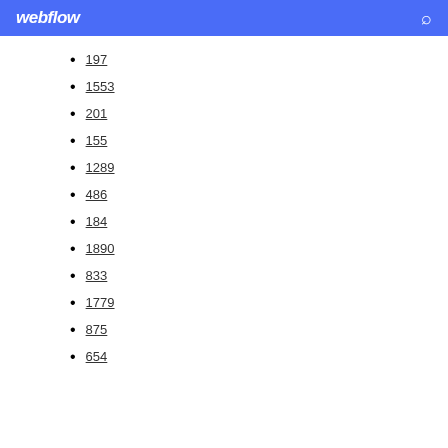webflow [search icon]
197
1553
201
155
1289
486
184
1890
833
1779
875
654